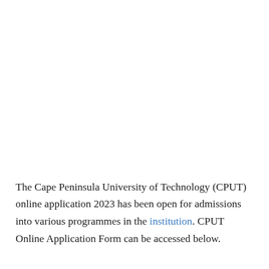The Cape Peninsula University of Technology (CPUT) online application 2023 has been open for admissions into various programmes in the institution. CPUT Online Application Form can be accessed below.